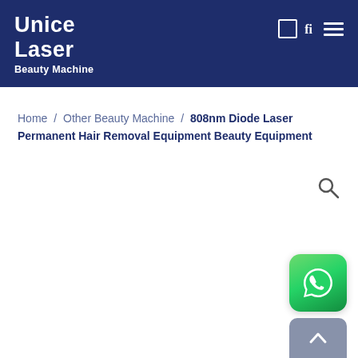Unice Laser Beauty Machine
Home / Other Beauty Machine / 808nm Diode Laser Permanent Hair Removal Equipment Beauty Equipment
[Figure (screenshot): Search icon (magnifying glass) positioned at upper right of content area]
[Figure (logo): WhatsApp button icon - green rounded square with white phone handset icon]
[Figure (other): Scroll to top button - grey rounded rectangle with upward chevron arrow]